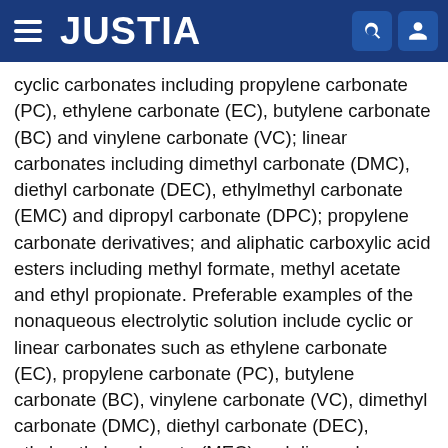JUSTIA
cyclic carbonates including propylene carbonate (PC), ethylene carbonate (EC), butylene carbonate (BC) and vinylene carbonate (VC); linear carbonates including dimethyl carbonate (DMC), diethyl carbonate (DEC), ethylmethyl carbonate (EMC) and dipropyl carbonate (DPC); propylene carbonate derivatives; and aliphatic carboxylic acid esters including methyl formate, methyl acetate and ethyl propionate. Preferable examples of the nonaqueous electrolytic solution include cyclic or linear carbonates such as ethylene carbonate (EC), propylene carbonate (PC), butylene carbonate (BC), vinylene carbonate (VC), dimethyl carbonate (DMC), diethyl carbonate (DEC), ethylmethyl carbonate (MEC) and dipropyl carbonate (DPC). The nonaqueous electrolytic solutions may be used alone or in combination of two or more types.